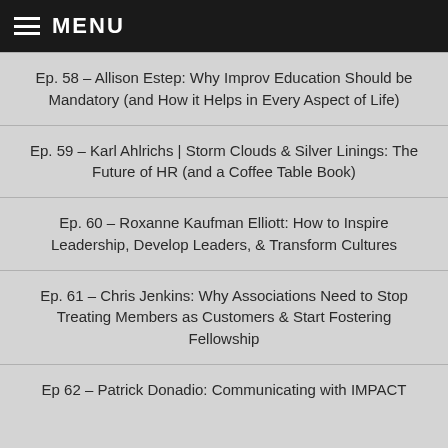MENU
Ep. 58 – Allison Estep: Why Improv Education Should be Mandatory (and How it Helps in Every Aspect of Life)
Ep. 59 – Karl Ahlrichs | Storm Clouds & Silver Linings: The Future of HR (and a Coffee Table Book)
Ep. 60 – Roxanne Kaufman Elliott: How to Inspire Leadership, Develop Leaders, & Transform Cultures
Ep. 61 – Chris Jenkins: Why Associations Need to Stop Treating Members as Customers & Start Fostering Fellowship
Ep 62 – Patrick Donadio: Communicating with IMPACT